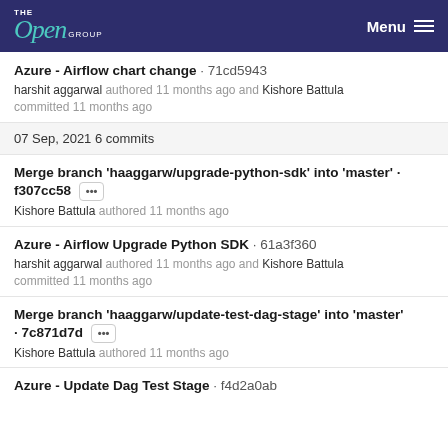The Open Group — Menu
Azure - Airflow chart change · 71cd5943
harshit aggarwal authored 11 months ago and Kishore Battula committed 11 months ago
07 Sep, 2021 6 commits
Merge branch 'haaggarw/upgrade-python-sdk' into 'master' · f307cc58 [···]
Kishore Battula authored 11 months ago
Azure - Airflow Upgrade Python SDK · 61a3f360
harshit aggarwal authored 11 months ago and Kishore Battula committed 11 months ago
Merge branch 'haaggarw/update-test-dag-stage' into 'master' · 7c871d7d [···]
Kishore Battula authored 11 months ago
Azure - Update Dag Test Stage · f4d2a0ab